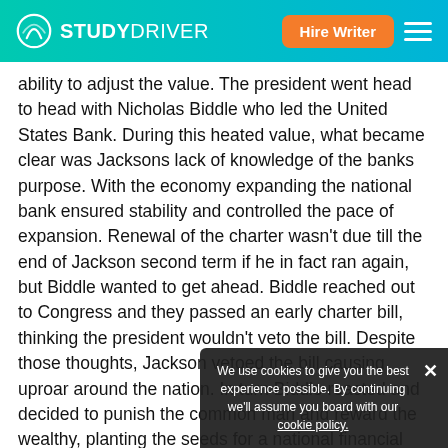STUDYDRIVER — Hire Writer
ability to adjust the value. The president went head to head with Nicholas Biddle who led the United States Bank. During this heated value, what became clear was Jacksons lack of knowledge of the banks purpose. With the economy expanding the national bank ensured stability and controlled the pace of expansion. Renewal of the charter wasn't due till the end of Jackson second term if he in fact ran again, but Biddle wanted to get ahead. Biddle reached out to Congress and they passed an early charter bill, thinking the president wouldn't veto the bill. Despite those thoughts, Jackson vetoed the bill causing uproar around the nation. In turn Biddle reacted and decided to punish the common man and reward the wealthy, planting the seeds for a national financial crisis (Shi).
Looking at Jacksons' initial actions showed Americans
We use cookies to give you the best experience possible. By continuing we'll assume you board with our cookie policy.